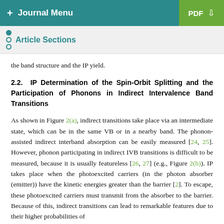+ Journal Menu | PDF ↓
Article Sections
the band structure and the IP yield.
2.2. IP Determination of the Spin-Orbit Splitting and the Participation of Phonons in Indirect Intervalence Band Transitions
As shown in Figure 2(a), indirect transitions take place via an intermediate state, which can be in the same VB or in a nearby band. The phonon-assisted indirect interband absorption can be easily measured [24, 25]. However, phonon participating in indirect IVB transitions is difficult to be measured, because it is usually featureless [26, 27] (e.g., Figure 2(b)). IP takes place when the photoexcited carriers (in the photon absorber (emitter)) have the kinetic energies greater than the barrier [2]. To escape, these photoexcited carriers must transmit from the absorber to the barrier. Because of this, indirect transitions can lead to remarkable features due to their higher probabilities of